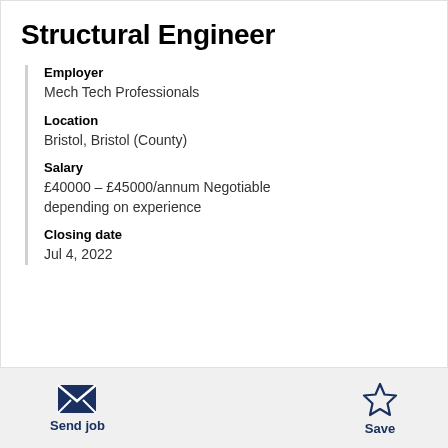Structural Engineer
Employer
Mech Tech Professionals
Location
Bristol, Bristol (County)
Salary
£40000 – £45000/annum Negotiable depending on experience
Closing date
Jul 4, 2022
Send job
Save